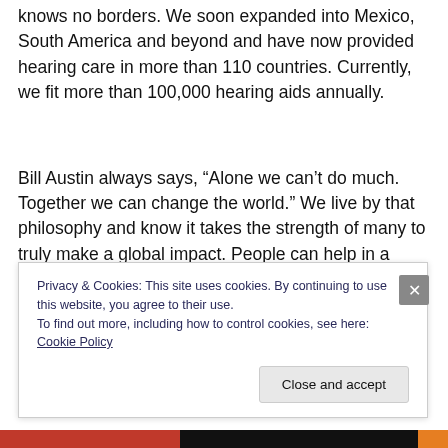knows no borders. We soon expanded into Mexico, South America and beyond and have now provided hearing care in more than 110 countries. Currently, we fit more than 100,000 hearing aids annually.
Bill Austin always says, “Alone we can’t do much. Together we can change the world.” We live by that philosophy and know it takes the strength of many to truly make a global impact. People can help in a number of ways:
Privacy & Cookies: This site uses cookies. By continuing to use this website, you agree to their use.
To find out more, including how to control cookies, see here: Cookie Policy
Close and accept